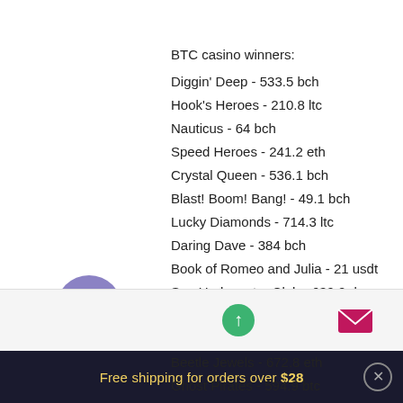BTC casino winners:
Diggin' Deep - 533.5 bch
Hook's Heroes - 210.8 ltc
Nauticus - 64 bch
Speed Heroes - 241.2 eth
Crystal Queen - 536.1 bch
Blast! Boom! Bang! - 49.1 bch
Lucky Diamonds - 714.3 ltc
Daring Dave - 384 bch
Book of Romeo and Julia - 21 usdt
Sea Underwater Club - 639.2 dog
Ambiance - 67.4 ltc
Festival Queens - 621.4 btc
Beetle Jewels - 672.8 eth
Ghost Pirates - 594.9 btc
Garage - 475 dog
Free shipping for orders over $28